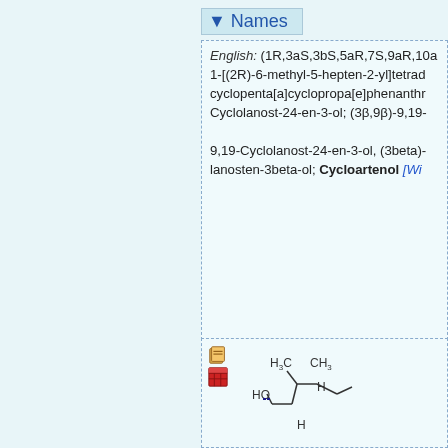Names
English: (1R,3aS,3bS,5aR,7S,9aR,10a 1-[(2R)-6-methyl-5-hepten-2-yl]tetrad cyclopenta[a]cyclopropa[e]phenanthr Cyclolanost-24-en-3-ol; (3β,9β)-9,19- 9,19-Cyclolanost-24-en-3-ol, (3beta)- lanosten-3beta-ol; Cycloartenol [Wik
[Figure (engineering-diagram): Small toolbar/copy icons (two icons stacked vertically)]
[Figure (schematic): Chemical structure diagram of cycloartenol showing the tetracyclic ring system with cyclopropane ring, HO group, H labels, and side chain with double bond]
[Figure (engineering-diagram): Small toolbar/copy icons (two icons stacked vertically)]
[Figure (schematic): Partial chemical structure showing H3C, CH3, HO groups and ring system (bottom panel, partially visible)]